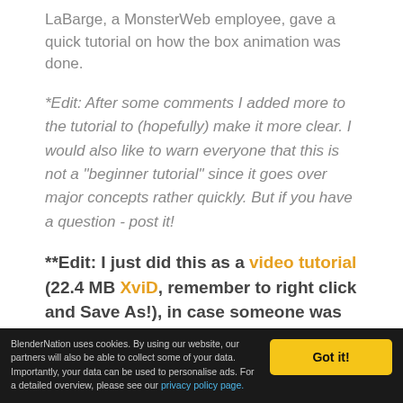LaBarge, a MonsterWeb employee, gave a quick tutorial on how the box animation was done.
*Edit: After some comments I added more to the tutorial to (hopefully) make it more clear. I would also like to warn everyone that this is not a "beginner tutorial" since it goes over major concepts rather quickly. But if you have a question - post it!
**Edit: I just did this as a video tutorial (22.4 MB XviD, remember to right click and Save As!), in case someone was having trouble.
Question related?
BlenderNation uses cookies. By using our website, our partners will also be able to collect some of your data. Importantly, your data can be used to personalise ads. For a detailed overview, please see our privacy policy page.